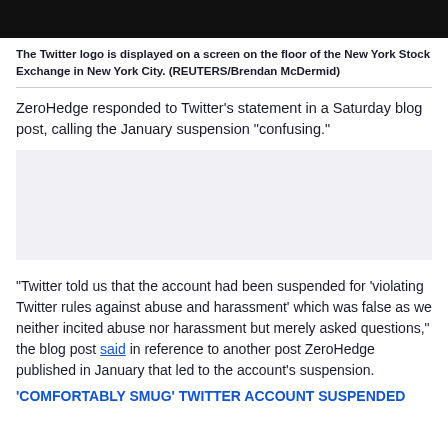[Figure (photo): Dark image showing Twitter logo on screen at New York Stock Exchange]
The Twitter logo is displayed on a screen on the floor of the New York Stock Exchange in New York City. (REUTERS/Brendan McDermid)
ZeroHedge responded to Twitter's statement in a Saturday blog post, calling the January suspension "confusing."
[Figure (other): Advertisement placeholder block]
"Twitter told us that the account had been suspended for 'violating Twitter rules against abuse and harassment' which was false as we neither incited abuse nor harassment but merely asked questions," the blog post said in reference to another post ZeroHedge published in January that led to the account's suspension.
'COMFORTABLY SMUG' TWITTER ACCOUNT SUSPENDED